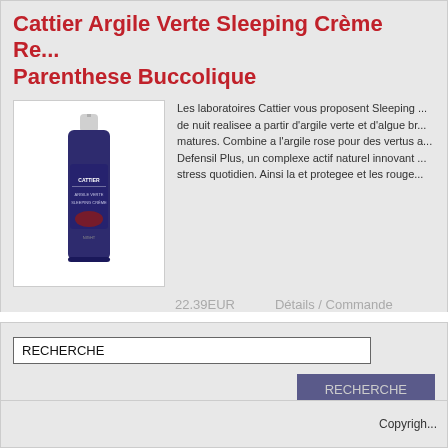Cattier Argile Verte Sleeping Crème Re... Parenthese Buccolique
[Figure (photo): Product photo of a dark blue/purple bottle of Cattier Argile Verte Sleeping Creme skincare product]
Les laboratoires Cattier vous proposent Sleeping ... de nuit realisee a partir d'argile verte et d'algue br... matures. Combine a l'argile rose pour des vertus a... Defensil Plus, un complexe actif naturel innovant ... stress quotidien. Ainsi la et protegee et les rouge...
22.39EUR
Détails / Commande
RECHERCHE
RECHERCHE
Copyrigh...